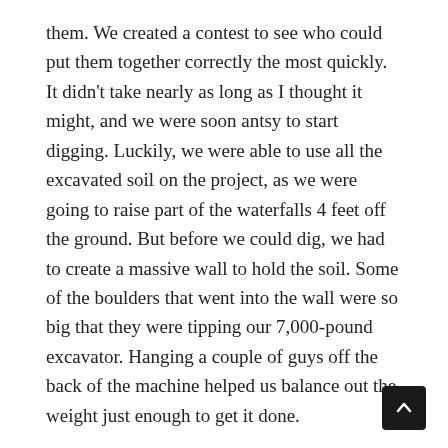them. We created a contest to see who could put them together correctly the most quickly. It didn't take nearly as long as I thought it might, and we were soon antsy to start digging. Luckily, we were able to use all the excavated soil on the project, as we were going to raise part of the waterfalls 4 feet off the ground. But before we could dig, we had to create a massive wall to hold the soil. Some of the boulders that went into the wall were so big that they were tipping our 7,000-pound excavator. Hanging a couple of guys off the back of the machine helped us balance out the weight just enough to get it done.
Once the base of the wall was complete, we were ready to dig. The soil was moist, sticky, yucky, nasty clay, and we were going 4 feet deep! Did I mention it was sticky? As I was digging out the soil, Mando was using the Ditch Witch to move it inside the wall we had built